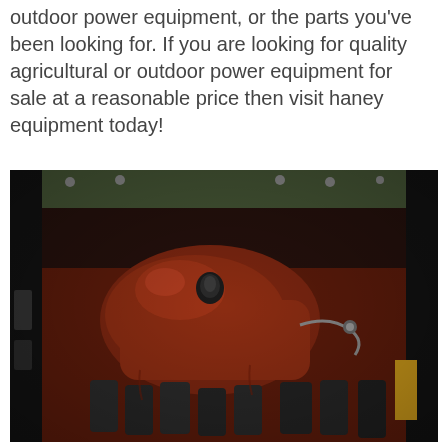outdoor power equipment, or the parts you've been looking for. If you are looking for quality agricultural or outdoor power equipment for sale at a reasonable price then visit haney equipment today!
[Figure (photo): Close-up photograph of industrial agricultural or outdoor power equipment machinery interior showing heavy metal components, reddish-brown engine or hydraulic parts, bolts, and mechanical assemblies inside a dark metal housing.]